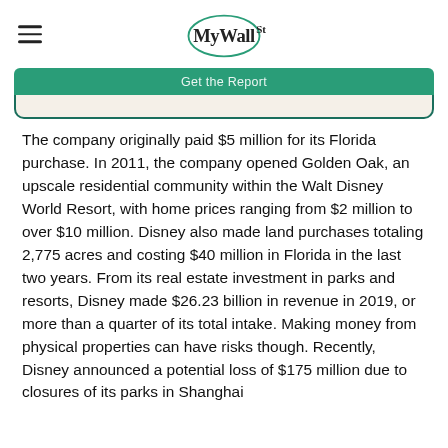MyWallSt
[Figure (other): Green 'Get the Report' button bar with teal border card below it]
The company originally paid $5 million for its Florida purchase. In 2011, the company opened Golden Oak, an upscale residential community within the Walt Disney World Resort, with home prices ranging from $2 million to over $10 million. Disney also made land purchases totaling 2,775 acres and costing $40 million in Florida in the last two years. From its real estate investment in parks and resorts, Disney made $26.23 billion in revenue in 2019, or more than a quarter of its total intake. Making money from physical properties can have risks though. Recently, Disney announced a potential loss of $175 million due to closures of its parks in Shanghai and Hong Kong due to the COVID-19 outbreak, while